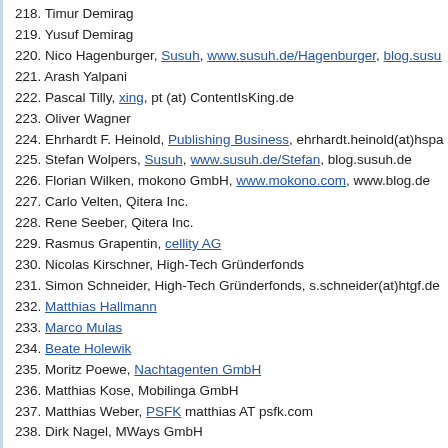218. Timur Demirag
219. Yusuf Demirag
220. Nico Hagenburger, Susuh, www.susuh.de/Hagenburger, blog.susu...
221. Arash Yalpani
222. Pascal Tilly, xing, pt (at) ContentIsKing.de
223. Oliver Wagner
224. Ehrhardt F. Heinold, Publishing Business, ehrhardt.heinold(at)hspa...
225. Stefan Wolpers, Susuh, www.susuh.de/Stefan, blog.susuh.de
226. Florian Wilken, mokono GmbH, www.mokono.com, www.blog.de
227. Carlo Velten, Qitera Inc.
228. Rene Seeber, Qitera Inc.
229. Rasmus Grapentin, cellity AG
230. Nicolas Kirschner, High-Tech Gründerfonds
231. Simon Schneider, High-Tech Gründerfonds, s.schneider(at)htgf.de...
232. Matthias Hallmann
233. Marco Mulas
234. Beate Holewik
235. Moritz Poewe, Nachtagenten GmbH
236. Matthias Kose, Mobilinga GmbH
237. Matthias Weber, PSFK matthias AT psfk.com
238. Dirk Nagel, MWays GmbH
239. Patrick Schnoor, MWays GmbH
240. Roman Mora, www.smatch.com, roman@smatch.com